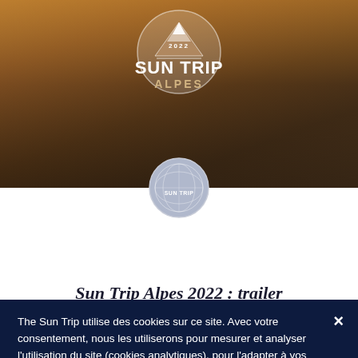[Figure (photo): Sun Trip Alpes 2022 event banner photo with warm golden/brown tones showing outdoor forest/field scene with Sun Trip Alpes 2022 logo overlay]
Sun Trip Alpes 2022 : trailer
The Sun Trip utilise des cookies sur ce site. Avec votre consentement, nous les utiliserons pour mesurer et analyser l'utilisation du site (cookies analytiques), pour l'adapter à vos intérêts (cookies de personnalisation) et pour vous présenter des publicités et des informations pertinentes (cookies de ciblage).
[EN] J'ACCEPTE
[EN] PERSONNALISER